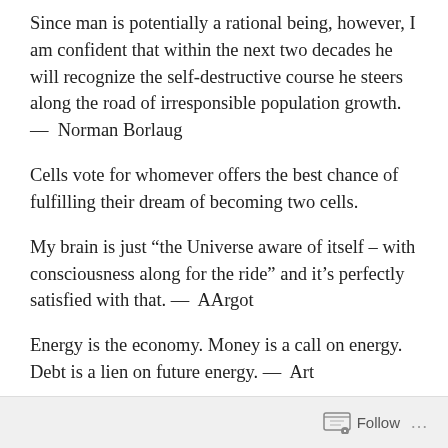Since man is potentially a rational being, however, I am confident that within the next two decades he will recognize the self-destructive course he steers along the road of irresponsible population growth. — Norman Borlaug
Cells vote for whomever offers the best chance of fulfilling their dream of becoming two cells.
My brain is just “the Universe aware of itself – with consciousness along for the ride” and it’s perfectly satisfied with that. — AArgot
Energy is the economy. Money is a call on energy. Debt is a lien on future energy. — Art
Follow